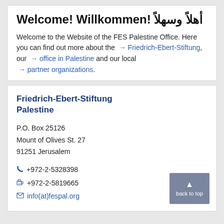Welcome! Willkommen! أهلاً وسهلاً
Welcome to the Website of the FES Palestine Office. Here you can find out more about the → Friedrich-Ebert-Stiftung, our → office in Palestine and our local → partner organizations.
Friedrich-Ebert-Stiftung Palestine
P.O. Box 25126
Mount of Olives St. 27
91251 Jerusalem
+972-2-5328398
+972-2-5819665
info(at)fespal.org